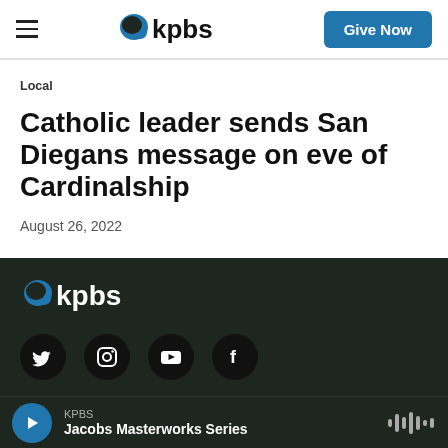kpbs — Give Now
Local
Catholic leader sends San Diegans message on eve of Cardinalship
August 26, 2022
[Figure (logo): KPBS logo on dark footer background]
[Figure (infographic): Social media icons: Twitter, Instagram, YouTube, Facebook]
KPBS — Jacobs Masterworks Series